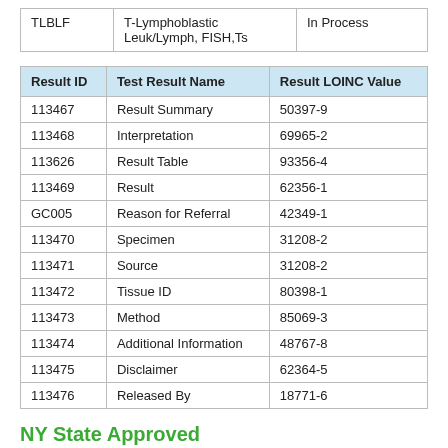| TLBLF | T-Lymphoblastic Leuk/Lymph, FISH,Ts | In Process |
| Result ID | Test Result Name | Result LOINC Value |
| --- | --- | --- |
| 113467 | Result Summary | 50397-9 |
| 113468 | Interpretation | 69965-2 |
| 113626 | Result Table | 93356-4 |
| 113469 | Result | 62356-1 |
| GC005 | Reason for Referral | 42349-1 |
| 113470 | Specimen | 31208-2 |
| 113471 | Source | 31208-2 |
| 113472 | Tissue ID | 80398-1 |
| 113473 | Method | 85069-3 |
| 113474 | Additional Information | 48767-8 |
| 113475 | Disclaimer | 62364-5 |
| 113476 | Released By | 18771-6 |
NY State Approved